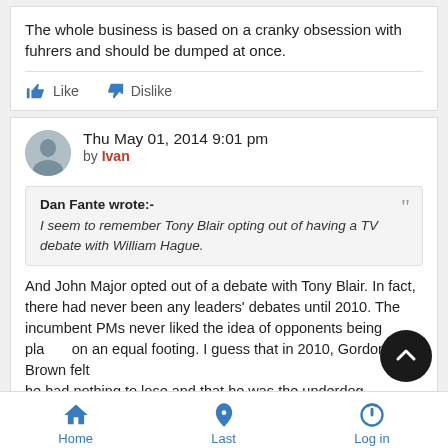The whole business is based on a cranky obsession with fuhrers and should be dumped at once.
Like   Dislike
Thu May 01, 2014 9:01 pm
by Ivan
Dan Fante wrote:- I seem to remember Tony Blair opting out of having a TV debate with William Hague.
And John Major opted out of a debate with Tony Blair. In fact, there had never been any leaders' debates until 2010. The incumbent PMs never liked the idea of opponents being placed on an equal footing. I guess that in 2010, Gordon Brown felt he had nothing to lose and that he was the underdog
Home   Last   Log in